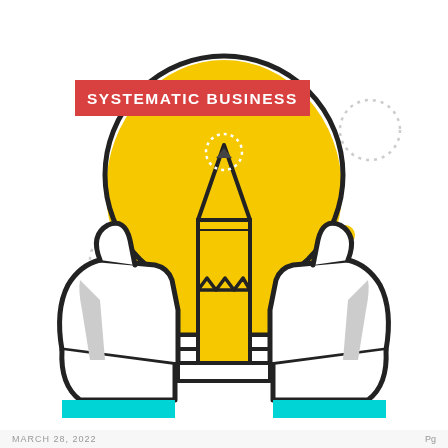[Figure (illustration): Illustration of two hands holding up a lightbulb containing a pencil inside, with decorative elements (cyan X marks, yellow dots, gray dotted circles, yellow X marks) on a white background. A red banner with white text 'SYSTEMATIC BUSINESS' is in the upper left. Cyan bars appear at the bottom of the hands.]
MARCH 28, 2022